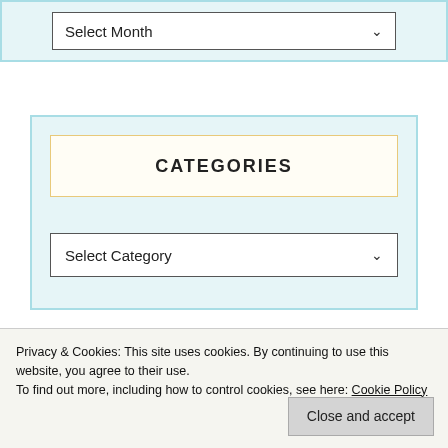[Figure (screenshot): Select Month dropdown widget inside a light blue bordered container]
CATEGORIES
[Figure (screenshot): Select Category dropdown widget inside a light blue bordered container with orange-bordered CATEGORIES title box]
Privacy & Cookies: This site uses cookies. By continuing to use this website, you agree to their use.
To find out more, including how to control cookies, see here: Cookie Policy
Close and accept